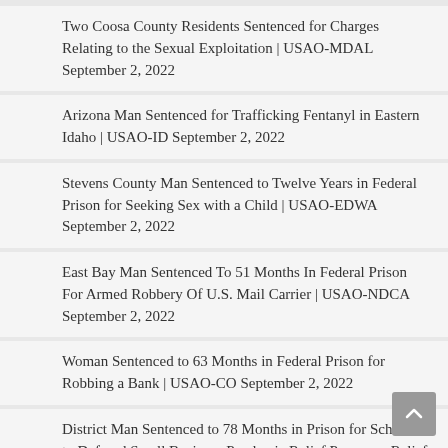Two Coosa County Residents Sentenced for Charges Relating to the Sexual Exploitation | USAO-MDAL September 2, 2022
Arizona Man Sentenced for Trafficking Fentanyl in Eastern Idaho | USAO-ID September 2, 2022
Stevens County Man Sentenced to Twelve Years in Federal Prison for Seeking Sex with a Child | USAO-EDWA September 2, 2022
East Bay Man Sentenced To 51 Months In Federal Prison For Armed Robbery Of U.S. Mail Carrier | USAO-NDCA September 2, 2022
Woman Sentenced to 63 Months in Federal Prison for Robbing a Bank | USAO-CO September 2, 2022
District Man Sentenced to 78 Months in Prison for Schemes to Defraud Small Business Pandemic Relief Programs Relief Programs and the Archdiocese of Washington | USAO-DC September 2, 2022
Reno Resident Sentenced To Prison For Large-Scale Retail Theft Ring | USAO-NV September 2, 2022